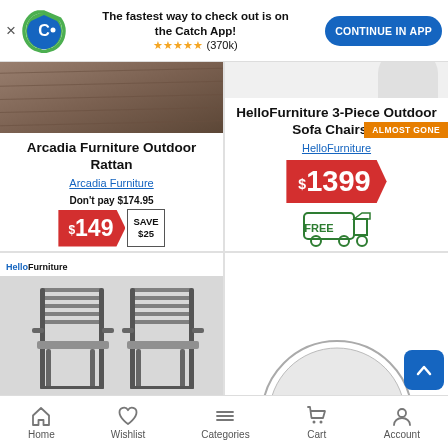[Figure (screenshot): App download banner with Catch logo, 5-star rating (370k), text 'The fastest way to check out is on the Catch App!', and 'CONTINUE IN APP' button]
Arcadia Furniture Outdoor Rattan
Arcadia Furniture
Don't pay $174.95
$149 SAVE $25
ALMOST GONE
HelloFurniture 3-Piece Outdoor Sofa Chairs &
HelloFurniture
$1399
[Figure (illustration): Free delivery truck icon in green]
[Figure (photo): HelloFurniture branded product image showing two outdoor rattan chairs]
[Figure (photo): Partial circular product image]
Home   Wishlist   Categories   Cart   Account